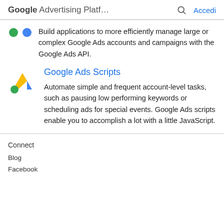Google Advertising Platf…  🔍  Accedi
Build applications to more efficiently manage large or complex Google Ads accounts and campaigns with the Google Ads API.
[Figure (logo): Google Ads logo (triangle shape with blue, yellow, and green colors)]
Google Ads Scripts
Automate simple and frequent account-level tasks, such as pausing low performing keywords or scheduling ads for special events. Google Ads scripts enable you to accomplish a lot with a little JavaScript.
Connect
Blog
Facebook